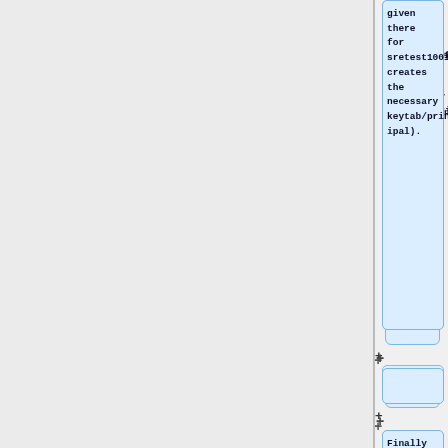given there for sretest1001 creates the necessary keytab/principal).
Finally you need to make a Puppet change to the role of the service:
* Include profile::base::cuminunpriv